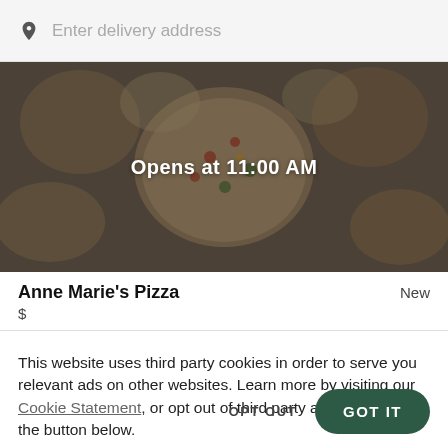Enter delivery address
[Figure (photo): Overhead photo of pizza and food dishes on a table, overlaid with semi-transparent dark filter and text 'Opens at 11:00 AM']
Anne Marie's Pizza
New
$
This website uses third party cookies in order to serve you relevant ads on other websites. Learn more by visiting our Cookie Statement, or opt out of third party ad cookies using the button below.
OPT OUT
GOT IT